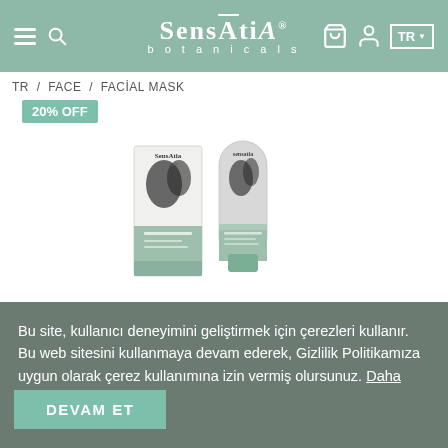Sensatia botanicals — TR navigation bar with hamburger, search, bag, account icons and language selector
TR / FACE / FACİAL MASK
20% OFF
[Figure (photo): Sensatia Botanicals facial mask product — a rectangular box and a tube side by side, both with green and white packaging with botanical leaf design]
Bu site, kullanıcı deneyimini geliştirmek için çerezleri kullanır. Bu web sitesini kullanmaya devam ederek, Gizlilik Politikamıza uygun olarak çerez kullanımına izin vermiş olursunuz. Daha fazla bilgi edin
DEVAM ET